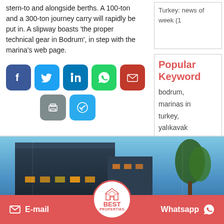stern-to and alongside berths. A 100-ton and a 300-ton journey carry will rapidly be put in. A slipway boasts ‘the proper technical gear in Bodrum’, in step with the marina’s web page.
Turkey: news of week (1
Popular Keyword
bodrum, marinas in turkey, yalıkavak
[Figure (infographic): Social media share buttons: Facebook, Twitter, LinkedIn, WhatsApp, Email, Print, Telegram]
[Figure (photo): Building exterior photo at twilight with blue sky, trees, and illuminated windows. Best Properties logo overlay with E-mail and Whatsapp CTA bar.]